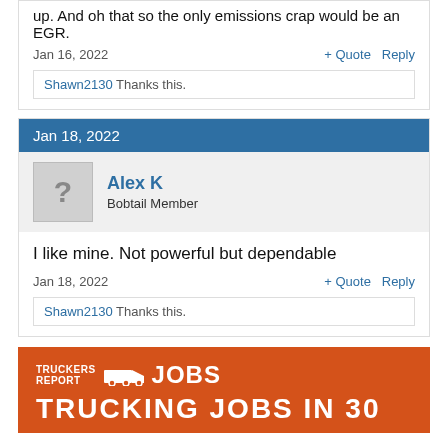up. And oh that so the only emissions crap would be an EGR.
Jan 16, 2022
+ Quote   Reply
Shawn2130 Thanks this.
Jan 18, 2022
Alex K
Bobtail Member
I like mine. Not powerful but dependable
Jan 18, 2022
+ Quote   Reply
Shawn2130 Thanks this.
[Figure (logo): Truckers Report Jobs logo with orange background, truck icon, and text 'TRUCKERS REPORT JOBS']
TRUCKING JOBS IN 30